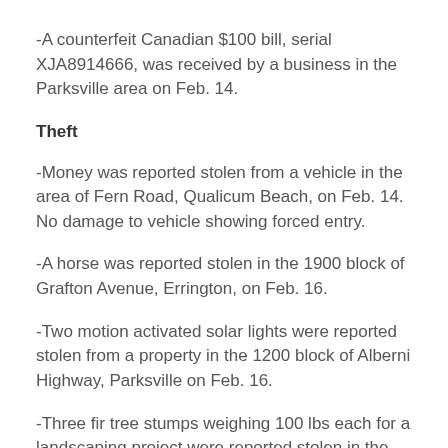-A counterfeit Canadian $100 bill, serial XJA8914666, was received by a business in the Parksville area on Feb. 14.
Theft
-Money was reported stolen from a vehicle in the area of Fern Road, Qualicum Beach, on Feb. 14. No damage to vehicle showing forced entry.
-A horse was reported stolen in the 1900 block of Grafton Avenue, Errington, on Feb. 16.
-Two motion activated solar lights were reported stolen from a property in the 1200 block of Alberni Highway, Parksville on Feb. 16.
-Three fir tree stumps weighing 100 lbs each for a landscaping project were reported stolen in the 200 block of Fern Road West, Qualicum Beach, on Feb.